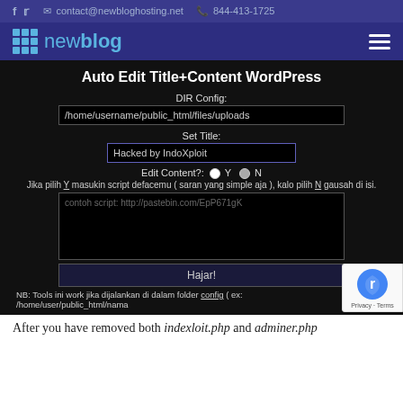f  t  contact@newbloghosting.net  844-413-1725
[Figure (screenshot): Website header with newblog logo (blue grid icon and text) on dark purple background, hamburger menu icon on right]
[Figure (screenshot): Dark-themed web tool interface titled 'Auto Edit Title+Content WordPress' with fields: DIR Config (/home/username/public_html/files/uploads), Set Title (Hacked by IndoXploit), Edit Content? radio Y/N, textarea with placeholder 'contoh script: http://pastebin.com/EpP671gK', Hajar! button, and NB note about config folder. reCAPTCHA badge visible bottom right.]
After you have removed both indexloit.php and adminer.php